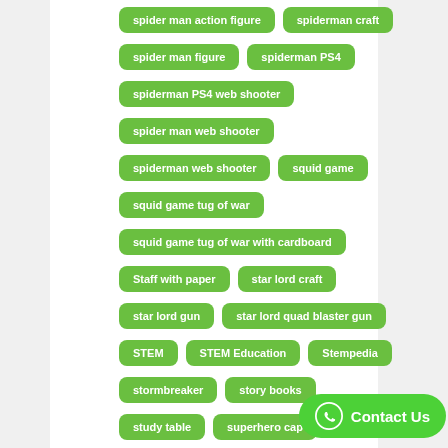spider man action figure
spiderman craft
spider man figure
spiderman PS4
spiderman PS4 web shooter
spider man web shooter
spiderman web shooter
squid game
squid game tug of war
squid game tug of war with cardboard
Staff with paper
star lord craft
star lord gun
star lord quad blaster gun
STEM
STEM Education
Stempedia
stormbreaker
story books
study table
superhero cap
switchblade knife
tank ride
thanos
Thanos infinity gauntlet
thanos infinity sword
thanos sword